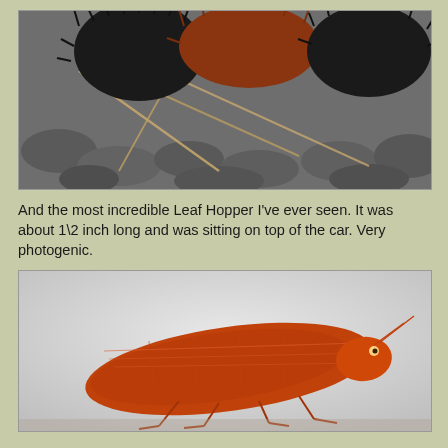[Figure (photo): Close-up photograph of a woolly bear caterpillar with black and reddish-orange fuzzy segments crawling on gray rocks and dried grass]
And the most incredible Leaf Hopper I've ever seen. It was about 1\2 inch long and was sitting on top of the car. Very photogenic.
[Figure (photo): Close-up photograph of a large red/orange Leaf Hopper insect on a light gray background, showing detailed wing venation and legs]